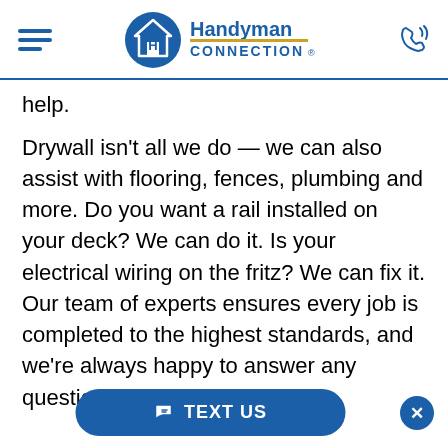[Figure (logo): Handyman Connection logo with hamburger menu and phone icon in header]
help.
Drywall isn’t all we do — we can also assist with flooring, fences, plumbing and more. Do you want a rail installed on your deck? We can do it. Is your electrical wiring on the fritz? We can fix it. Our team of experts ensures every job is completed to the highest standards, and we’re always happy to answer any questions you have.